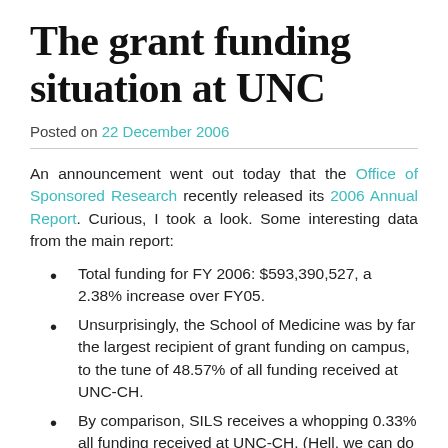The grant funding situation at UNC
Posted on 22 December 2006
An announcement went out today that the Office of Sponsored Research recently released its 2006 Annual Report. Curious, I took a look. Some interesting data from the main report:
Total funding for FY 2006: $593,390,527, a 2.38% increase over FY05.
Unsurprisingly, the School of Medicine was by far the largest recipient of grant funding on campus, to the tune of 48.57% of all funding received at UNC-CH.
By comparison, SILS receives a whopping 0.33% all funding received at UNC-CH. (Hell, we can do better than that!)